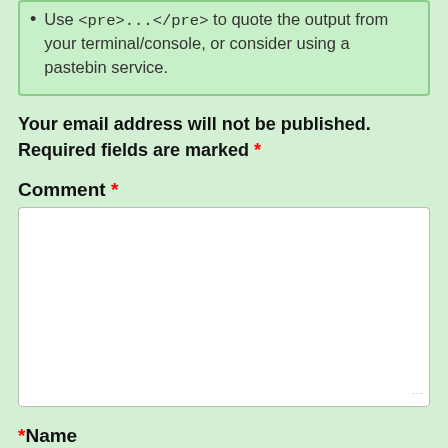Use <pre>...</pre> to quote the output from your terminal/console, or consider using a pastebin service.
Your email address will not be published. Required fields are marked *
Comment *
*Name